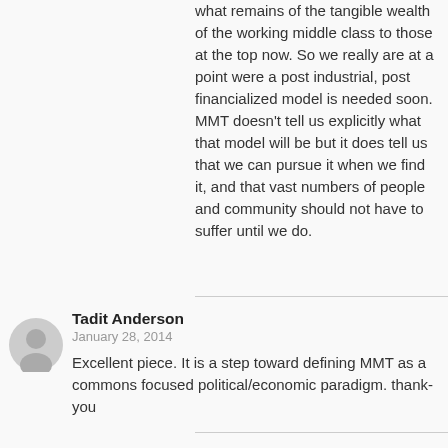what remains of the tangible wealth of the working middle class to those at the top now. So we really are at a point were a post industrial, post financialized model is needed soon. MMT doesn't tell us explicitly what that model will be but it does tell us that we can pursue it when we find it, and that vast numbers of people and community should not have to suffer until we do.
Tadit Anderson
January 28, 2014

Excellent piece. It is a step toward defining MMT as a commons focused political/economic paradigm. thank-you
chuck martel
January 28, 2014

"today no one in Congress consistently votes to advance the interests of the bottom third of the country."

Are the interests, economic or otherwise, of the bottom third of the country, identical for each individual? While the members of Congress are simply an aggregation of pompous thieves, even if they were 100% altruists,